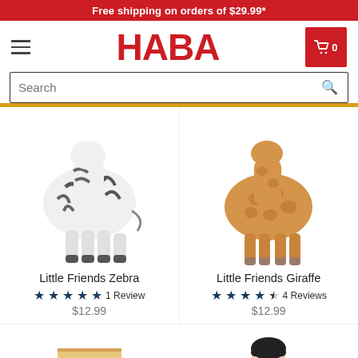Free shipping on orders of $29.99*
[Figure (logo): HABA logo in red, hamburger menu icon left, shopping cart with 0 items right]
[Figure (screenshot): Search bar with magnifying glass icon]
[Figure (photo): Product image of Little Friends Zebra toy figure - white with black stripes]
Little Friends Zebra
★★★★★ 1 Review $12.99
[Figure (photo): Product image of Little Friends Giraffe toy figure - tan/golden color]
Little Friends Giraffe
★★★★½ 4 Reviews $12.99
[Figure (photo): Partial product image of a wooden nightstand/bedside table toy]
[Figure (photo): Partial product image of a boy doll figure with dark hair and grey outfit]